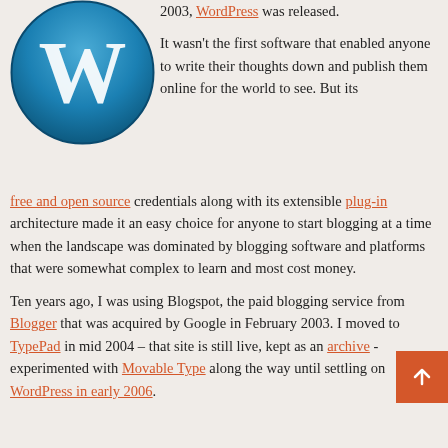[Figure (logo): WordPress logo — a white W on a blue circular gradient background]
2003, WordPress was released.
It wasn't the first software that enabled anyone to write their thoughts down and publish them online for the world to see. But its free and open source credentials along with its extensible plug-in architecture made it an easy choice for anyone to start blogging at a time when the landscape was dominated by blogging software and platforms that were somewhat complex to learn and most cost money.
Ten years ago, I was using Blogspot, the paid blogging service from Blogger that was acquired by Google in February 2003. I moved to TypePad in mid 2004 – that site is still live, kept as an archive -  experimented with Movable Type along the way until settling on WordPress in early 2006.